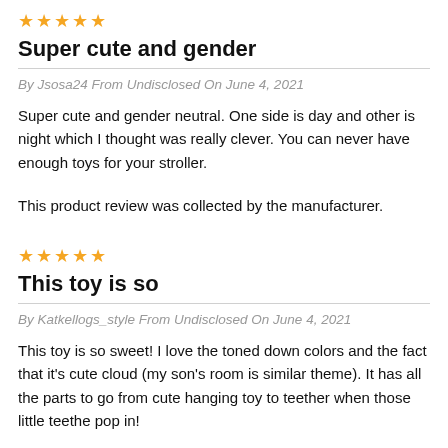[Figure (other): Five gold star rating icons]
Super cute and gender
By Jsosa24 From Undisclosed On June 4, 2021
Super cute and gender neutral. One side is day and other is night which I thought was really clever. You can never have enough toys for your stroller.
This product review was collected by the manufacturer.
[Figure (other): Five gold star rating icons]
This toy is so
By Katkellogs_style From Undisclosed On June 4, 2021
This toy is so sweet! I love the toned down colors and the fact that it's cute cloud (my son's room is similar theme). It has all the parts to go from cute hanging toy to teether when those little teethe pop in!